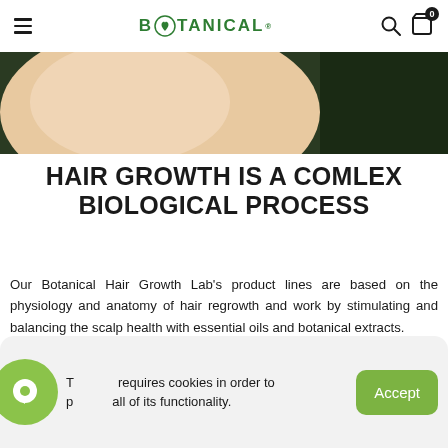BOTANICAL
[Figure (photo): Close-up photo of a person's scalp/skin with hair, dark green background]
HAIR GROWTH IS A COMLEX BIOLOGICAL PROCESS
Our Botanical Hair Growth Lab's product lines are based on the physiology and anatomy of hair regrowth and work by stimulating and balancing the scalp health with essential oils and botanical extracts.
This site requires cookies in order to provide all of its functionality.